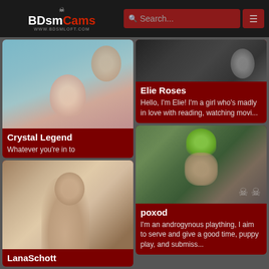BDsmCams | Search...
[Figure (photo): Close-up face photo of Crystal Legend]
Crystal Legend
Whatever you're in to
[Figure (photo): Photo of Elie Roses]
Elie Roses
Hello, I'm Elie! I'm a girl who's madly in love with reading, watching movi...
[Figure (photo): Photo of LanaSchott on bed]
LanaSchott
[Figure (photo): Photo of poxod with green hair and skull decorations]
poxod
I'm an androgynous plaything, I aim to serve and give a good time, puppy play, and submiss...